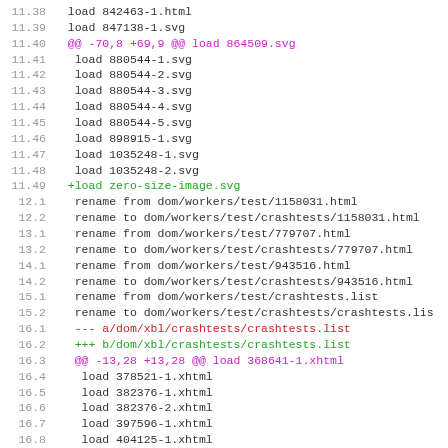diff --git code listing showing file renames and load commands in a version control diff format
11.38  load 842463-1.html
11.39  load 847138-1.svg
11.40  @@ -70,8 +69,9 @@ load 864509.svg
11.41   load 880544-1.svg
11.42   load 880544-2.svg
11.43   load 880544-3.svg
11.44   load 880544-4.svg
11.45   load 880544-5.svg
11.46   load 898915-1.svg
11.47   load 1035248-1.svg
11.48   load 1035248-2.svg
11.49  +load zero-size-image.svg
12.1   rename from dom/workers/test/1158031.html
12.2   rename to dom/workers/test/crashtests/1158031.html
13.1   rename from dom/workers/test/779707.html
13.2   rename to dom/workers/test/crashtests/779707.html
14.1   rename from dom/workers/test/943516.html
14.2   rename to dom/workers/test/crashtests/943516.html
15.1   rename from dom/workers/test/crashtests.list
15.2   rename to dom/workers/test/crashtests/crashtests.li
16.1  --- a/dom/xbl/crashtests/crashtests.list
16.2  +++ b/dom/xbl/crashtests/crashtests.list
16.3  @@ -13,28 +13,28 @@ load 368641-1.xhtml
16.4   load 378521-1.xhtml
16.5   load 382376-1.xhtml
16.6   load 382376-2.xhtml
16.7   load 397596-1.xhtml
16.8   load 404125-1.xhtml
16.9   load 406900-1.xul
16.10  load 406904-1.xhtml
16.11  load 406904-2.xhtml
16.12  +load 415192-1.xul